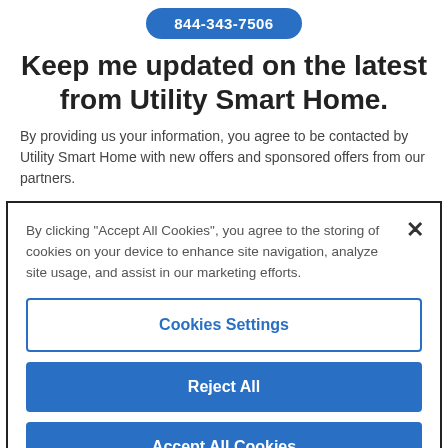844-343-7506
Keep me updated on the latest from Utility Smart Home.
By providing us your information, you agree to be contacted by Utility Smart Home with new offers and sponsored offers from our partners.
By clicking “Accept All Cookies”, you agree to the storing of cookies on your device to enhance site navigation, analyze site usage, and assist in our marketing efforts.
Cookies Settings
Reject All
Accept All Cookies